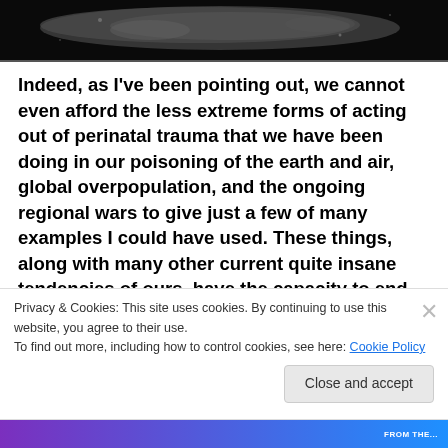[Figure (photo): Dark space image showing an asteroid or rocky object against a dark background]
Indeed, as I've been pointing out, we cannot even afford the less extreme forms of acting out of perinatal trauma that we have been doing in our poisoning of the earth and air, global overpopulation, and the ongoing regional wars to give just a few of many examples I could have used. These things, along with many other current quite insane tendencies of ours, have the capacity to end our species and possibly all
Privacy & Cookies: This site uses cookies. By continuing to use this website, you agree to their use.
To find out more, including how to control cookies, see here: Cookie Policy